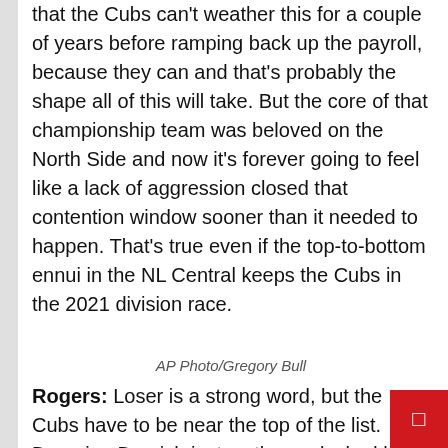that the Cubs can't weather this for a couple of years before ramping back up the payroll, because they can and that's probably the shape all of this will take. But the core of that championship team was beloved on the North Side and now it's forever going to feel like a lack of aggression closed that contention window sooner than it needed to happen. That's true even if the top-to-bottom ennui in the NL Central keeps the Cubs in the 2021 division race.
AP Photo/Gregory Bull
Rogers: Loser is a strong word, but the Cubs have to be near the top of the list. Dumping Darvish just as they unlocked his greatness is a huge los It won't take much to win the NL Central, but the